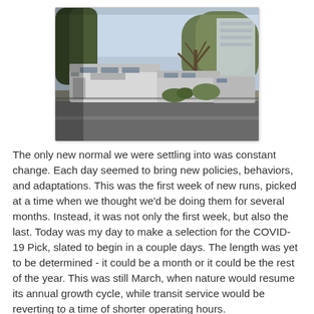[Figure (photo): A line of transit buses parked along a tree-lined road, with bare trees and a building visible in the background. The scene appears to be in an urban park-like setting.]
The only new normal we were settling into was constant change. Each day seemed to bring new policies, behaviors, and adaptations. This was the first week of new runs, picked at a time when we thought we'd be doing them for several months. Instead, it was not only the first week, but also the last. Today was my day to make a selection for the COVID-19 Pick, slated to begin in a couple days. The length was yet to be determined - it could be a month or it could be the rest of the year. This was still March, when nature would resume its annual growth cycle, while transit service would be reverting to a time of shorter operating hours.
Even so, the day was bright and warm with a few scattered clouds. At the road relief spot Miss Carla passed me control